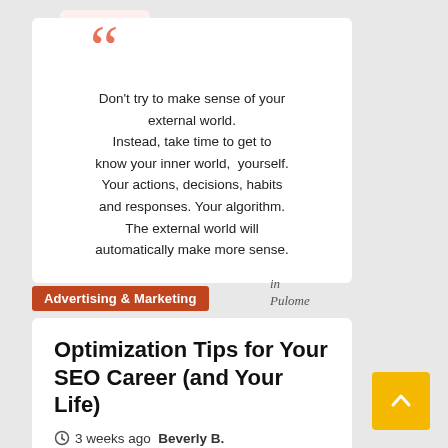Don't try to make sense of your external world. Instead, take time to get to know your inner world, yourself. Your actions, decisions, habits and responses. Your algorithm. The external world will automatically make more sense.
Advertising & Marketing
Optimization Tips for Your SEO Career (and Your Life)
3 weeks ago  Beverly B. Pearman